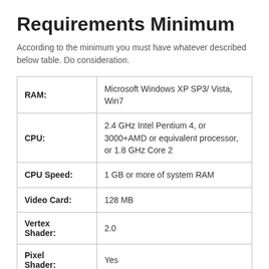Requirements Minimum
According to the minimum you must have whatever described below table. Do consideration.
|  |  |
| --- | --- |
| RAM: | Microsoft Windows XP SP3/ Vista, Win7 |
| CPU: | 2.4 GHz Intel Pentium 4, or 3000+AMD or equivalent processor, or 1.8 GHz Core 2 |
| CPU Speed: | 1 GB or more of system RAM |
| Video Card: | 128 MB |
| Vertex Shader: | 2.0 |
| Pixel Shader: | Yes |